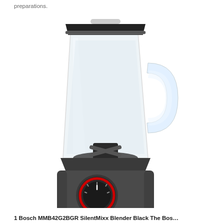preparations.
[Figure (photo): A Bosch countertop blender with a clear glass jar/pitcher and a dark gray base unit featuring a rotary speed control dial with red accent ring. The blender has a black lid and chrome/black collar detail.]
1 Bosch MMB42G2BGR SilentMixx Blender Black The Bos...